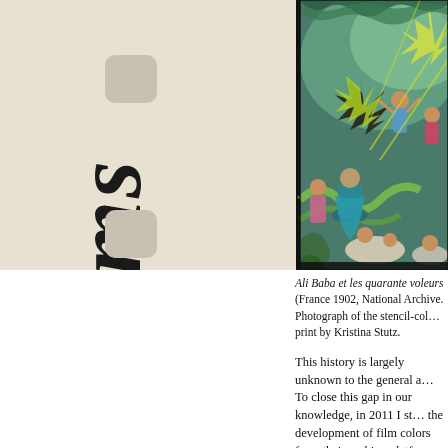[Figure (photo): A colorful hand-colored or stencil-colored film frame showing a theatrical scene from Ali Baba et les quarante voleurs (France 1902). The image shows performers in elaborate costumes on a stage with decorative painted backdrops featuring stars, suns, and ornate designs in greens, yellows, and teals. Film sprocket holes are visible on the left side of the film strip, alongside large rotated italic text. Three rounded rectangular sprocket holes are visible.]
Ali Baba et les quarante voleurs (France 1902, National Archive. Photograph of the stencil-colored print by Kristina Stutz.
This history is largely unknown to the general a...
To close this gap in our knowledge, in 2011 I st... the development of film colors from their prehi... platform contains hundreds of primary and seco... 22,000 photographs of historical film prints and...